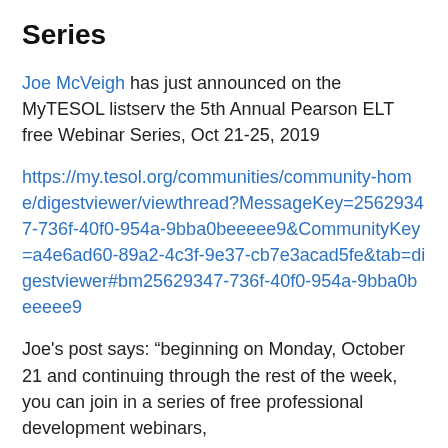Series
Joe McVeigh has just announced on the MyTESOL listserv the 5th Annual Pearson ELT free Webinar Series, Oct 21-25, 2019
https://my.tesol.org/communities/community-home/digestviewer/viewthread?MessageKey=25629347-736f-40f0-954a-9bba0beeeee9&CommunityKey=a4e6ad60-89a2-4c3f-9e37-cb7e3acad5fe&tab=digestviewer#bm25629347-736f-40f0-954a-9bba0beeeee9
Joe's post says: “beginning on Monday, October 21 and continuing through the rest of the week, you can join in a series of free professional development webinars, sponsored by Pearson. The webinars are free, but you need to